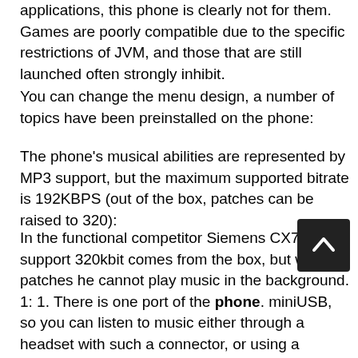applications, this phone is clearly not for them. Games are poorly compatible due to the specific restrictions of JVM, and those that are still launched often strongly inhibit.
You can change the menu design, a number of topics have been preinstalled on the phone:
The phone's musical abilities are represented by MP3 support, but the maximum supported bitrate is 192KBPS (out of the box, patches can be raised to 320):
In the functional competitor Siemens CX75, support 320kbit comes from the box, but without patches he cannot play music in the background. 1: 1. There is one port of the phone. miniUSB, so you can listen to music either through a headset with such a connector, or using a special adapter for 3.5mm jack. The outer speaker is one, but also very good, although it does not reach the idol of the musicians E398. Of the musical features, it is also interesting that as a